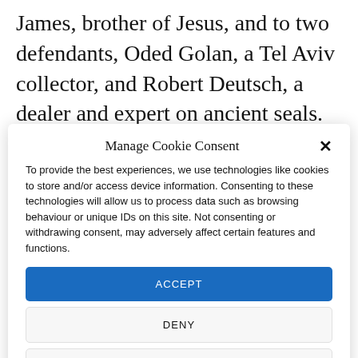James, brother of Jesus, and to two defendants, Oded Golan, a Tel Aviv collector, and Robert Deutsch, a dealer and expert on ancient seals.
Manage Cookie Consent
To provide the best experiences, we use technologies like cookies to store and/or access device information. Consenting to these technologies will allow us to process data such as browsing behaviour or unique IDs on this site. Not consenting or withdrawing consent, may adversely affect certain features and functions.
ACCEPT
DENY
VIEW PREFERENCES
Cookie Policy   Privacy Policy